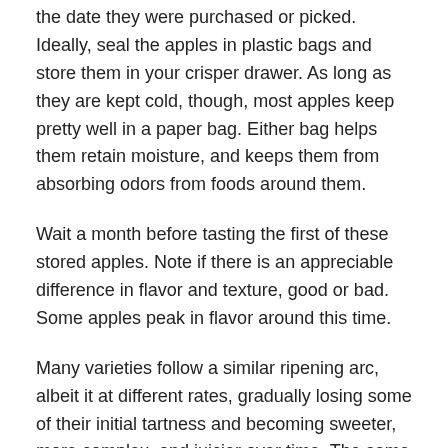the date they were purchased or picked. Ideally, seal the apples in plastic bags and store them in your crisper drawer. As long as they are kept cold, though, most apples keep pretty well in a paper bag. Either bag helps them retain moisture, and keeps them from absorbing odors from foods around them.
Wait a month before tasting the first of these stored apples. Note if there is an appreciable difference in flavor and texture, good or bad. Some apples peak in flavor around this time.
Many varieties follow a similar ripening arc, albeit it at different rates, gradually losing some of their initial tartness and becoming sweeter, more complex, and juicier over time. The same variety can be appreciated in different seasons for different reasons.